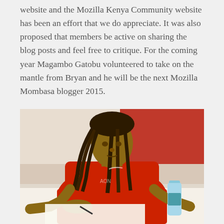website and the Mozilla Kenya Community website has been an effort that we do appreciate. It was also proposed that members be active on sharing the blog posts and feel free to critique. For the coming year Magambo Gatobu volunteered to take on the mantle from Bryan and he will be the next Mozilla Mombasa blogger 2015.
[Figure (photo): A young man with dreadlocks wearing a red Manchester United jersey, sitting at a white table and writing on paper. A water bottle is visible to his right. There is a red wall in the background.]